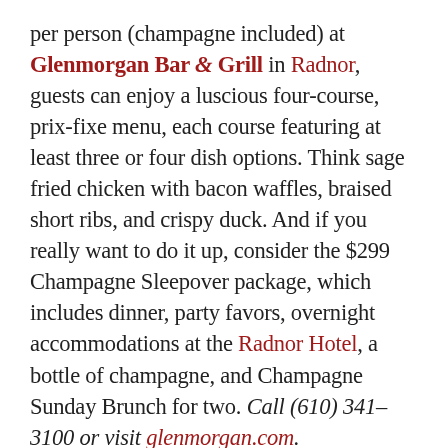per person (champagne included) at Glenmorgan Bar & Grill in Radnor, guests can enjoy a luscious four-course, prix-fixe menu, each course featuring at least three or four dish options. Think sage fried chicken with bacon waffles, braised short ribs, and crispy duck. And if you really want to do it up, consider the $299 Champagne Sleepover package, which includes dinner, party favors, overnight accommodations at the Radnor Hotel, a bottle of champagne, and Champagne Sunday Brunch for two. Call (610) 341–3100 or visit glenmorgan.com.
Verdad Restaurant & Tequila Bar in Bryn Mawr will unveil its 2012 Luna Nueva Tequila on New